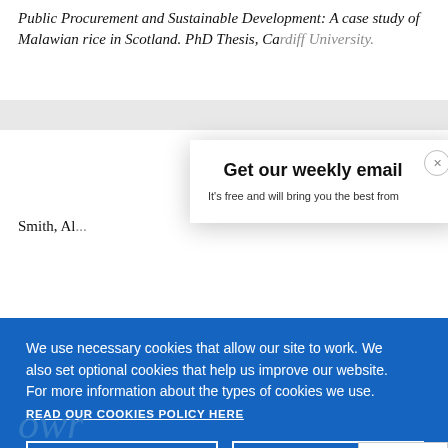Public Procurement and Sustainable Development: A case study of Malawian rice in Scotland. PhD Thesis, Cardiff University.
Smith, Al...
[Figure (screenshot): Cookie consent banner overlay with blue background containing text: 'We use necessary cookies that allow our site to work. We also set optional cookies that help us improve our website. For more information about the types of cookies we use. READ OUR COOKIES POLICY HERE' and two buttons: 'COOKIE SETTINGS' and 'ALLOW ALL COOKIES']
[Figure (screenshot): Email subscription modal dialog with title 'Get our weekly email' and subtitle text 'It’s free and will bring you the best from' with a close button (x) in top right corner]
data.